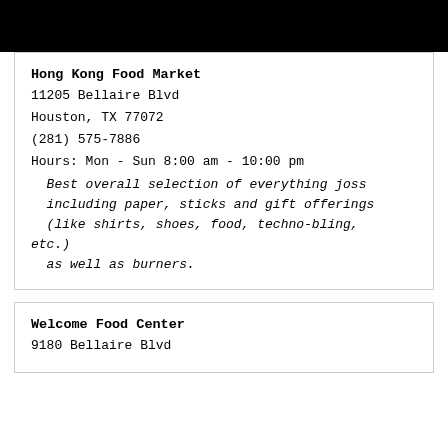[Figure (other): Black rectangular bar at top of page]
Hong Kong Food Market
11205 Bellaire Blvd
Houston, TX 77072
(281) 575-7886
Hours: Mon - Sun 8:00 am - 10:00 pm
  Best overall selection of everything joss including paper, sticks and gift offerings (like shirts, shoes, food, techno-bling, etc.)
  as well as burners.
Welcome Food Center
9180 Bellaire Blvd